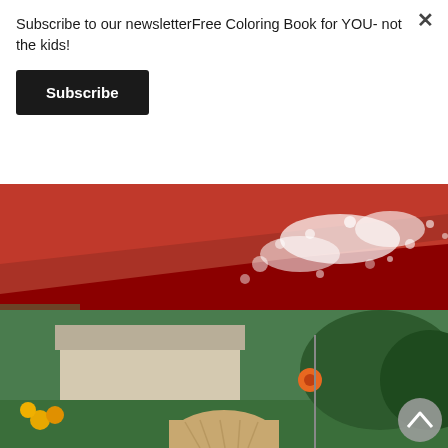Subscribe to our newsletterFree Coloring Book for YOU- not the kids!
Subscribe
[Figure (photo): Close-up of a red surface with white baking soda powder scattered on it, showing the reaction starting to form bubbles and foam.]
The mixture should immediately react with the baking soda, and start foaming, bubbling over.
[Figure (photo): Outdoor garden scene with a child (seen from behind with blonde hair) in a green yard with flowers, plants, and a garden structure visible in the background.]